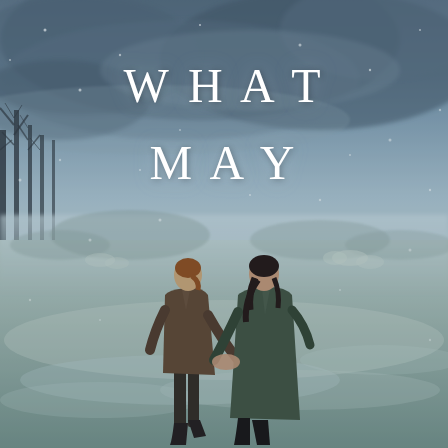[Figure (illustration): A wintry outdoor scene with two figures — a man and a woman — standing in a snow-dusted field holding hands, viewed from behind. The background has pale grey-blue misty skies, bare trees to the left, and a frost-covered meadow. Snow falls lightly. The overall palette is cold blue-grey. Overlaid text reads 'WHAT MAY' in large widely-spaced white serif letters.]